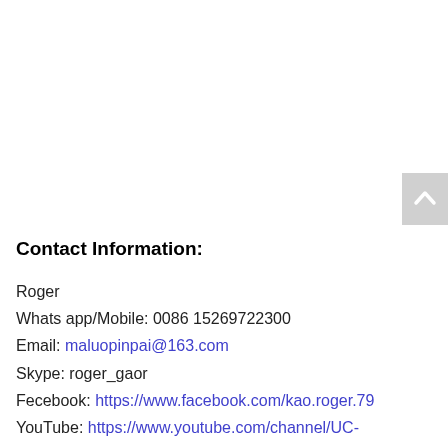[Figure (other): Scroll-to-top button with upward chevron arrow on grey background]
Contact Information:
Roger
Whats app/Mobile: 0086 15269722300
Email: maluopinpai@163.com
Skype: roger_gaor
Fecebook: https://www.facebook.com/kao.roger.79
YouTube: https://www.youtube.com/channel/UC-Ha_qylYrT7NMHr8hhGsNw